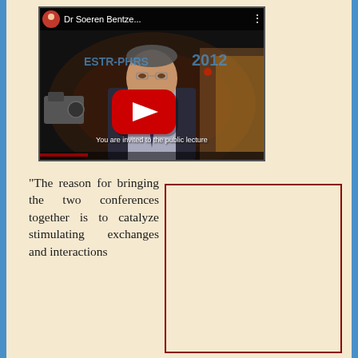[Figure (screenshot): YouTube video thumbnail of Dr Soeren Bentze at ESTR-PHRS 2012 conference, showing a man in a suit with a red YouTube play button overlay. Subtitle reads: 'You are invited to the public lecture']
“The reason for bringing the two conferences together is to catalyze stimulating exchanges and interactions